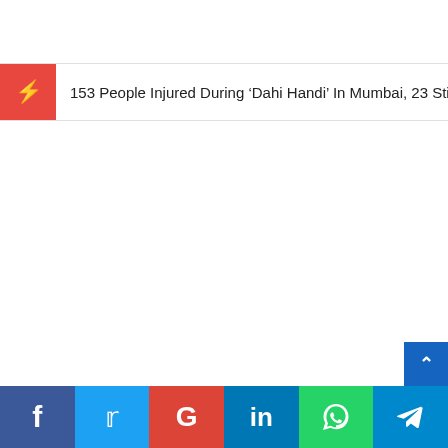153 People Injured During ‘Dahi Handi’ In Mumbai, 23 Still ._
Social share bar: Facebook, Twitter, Google, LinkedIn, WhatsApp, Telegram